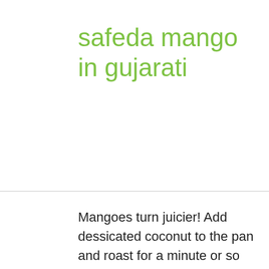safeda mango in gujarati
Mangoes turn juicier! Add dessicated coconut to the pan and roast for a minute or so while stirring constantly until it turns fragrant. Introduction to Guava Production:-Guava is one of the wonderful fruits grown through the tropical and sub-tropical regions of the world.It is gaining very good popularity due to its nutritional facts and health benefits. ABOUT Mango Yogurt Popsicles RECIPE. From mango salads, mango lassi to juices or ever-so-delicious aamras, mango can be used to prepare various delicacies. It is also known as Manila mango, champagne, or Philippine mango. PTI Totapuri . Red flower in a Yellow Dessert is like a sweet mango custard with a touch of cherries and coconut. Traditionally, it's